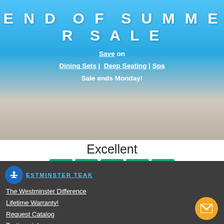END OF SUMMER SALE
Save on Dining Sets | Deep Seating | Spa Sale ends Monday!
[Figure (other): Trustpilot rating widget showing Excellent rating with 5 green stars and text 'Based on 1,897 reviews' with Trustpilot logo]
[Figure (logo): Westminster Teak footer with accessibility button, brand name, navigation links and mail button]
The Westminster Difference
Lifetime Warranty!
Request Catalog
Testimonials